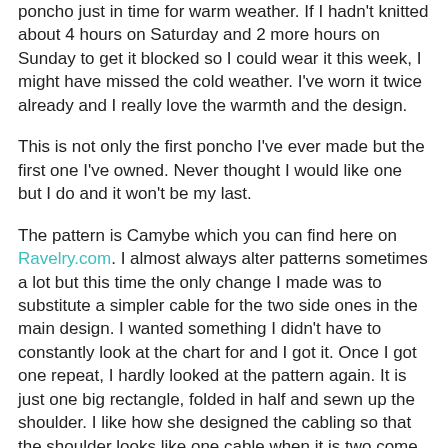poncho just in time for warm weather.  If I hadn't knitted about 4 hours on Saturday and 2 more hours on Sunday to get it blocked so I could wear it this week, I might have missed the cold weather.  I've worn it twice already and I really love the warmth and the design.
This is not only the first poncho I've ever made but the first one I've owned.  Never thought I would like one but I do and it won't be my last.
The pattern is Camybe which you can find here on Ravelry.com.  I almost always alter patterns sometimes a lot but this time the only change I made was to substitute a simpler cable for the two side ones in the main design.  I wanted something I didn't have to constantly look at the chart for and I got it.  Once I got one repeat, I hardly looked at the pattern again.  It is just one big rectangle, folded in half and sewn up the shoulder.  I like how she designed the cabling so that the shoulder looks like one cable when it is two come together.
Used Berroco Vintage yarn in color Aubergine.